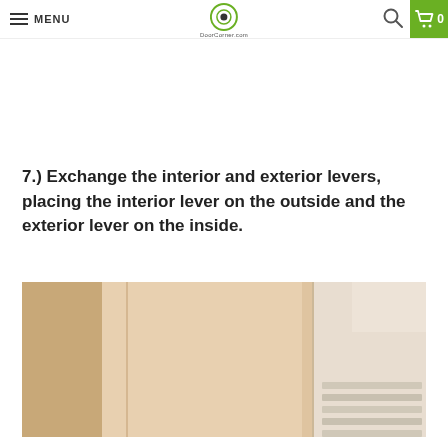MENU | DoorCorner.com | [search] [cart 0]
7.) Exchange the interior and exterior levers, placing the interior lever on the outside and the exterior lever on the inside.
[Figure (photo): Photo of a door corner/frame area showing cardboard-colored surface with a window visible on the right side and horizontal strips/slats.]